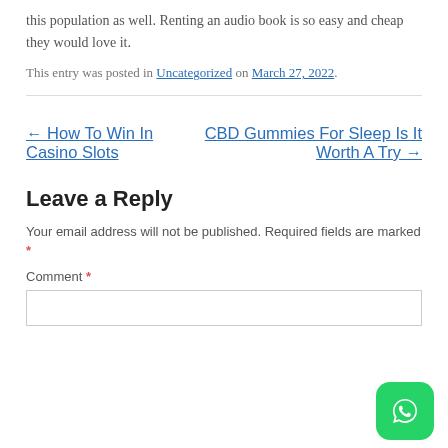this population as well. Renting an audio book is so easy and cheap they would love it.
This entry was posted in Uncategorized on March 27, 2022.
← How To Win In Casino Slots   CBD Gummies For Sleep Is It Worth A Try →
Leave a Reply
Your email address will not be published. Required fields are marked *
Comment *
[Figure (logo): WhatsApp logo green rounded square icon]